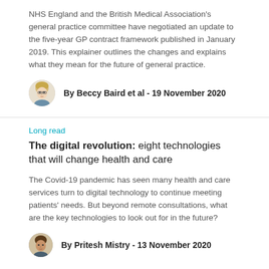NHS England and the British Medical Association's general practice committee have negotiated an update to the five-year GP contract framework published in January 2019. This explainer outlines the changes and explains what they mean for the future of general practice.
By Beccy Baird et al - 19 November 2020
Long read
The digital revolution: eight technologies that will change health and care
The Covid-19 pandemic has seen many health and care services turn to digital technology to continue meeting patients' needs. But beyond remote consultations, what are the key technologies to look out for in the future?
By Pritesh Mistry - 13 November 2020